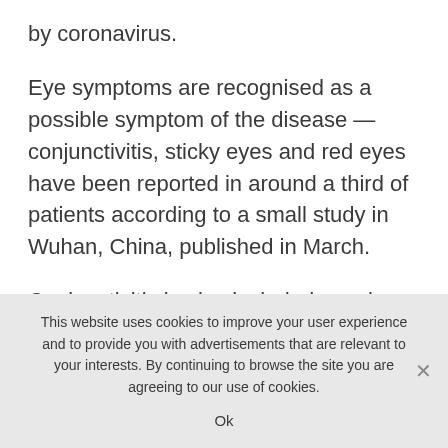by coronavirus.
Eye symptoms are recognised as a possible symptom of the disease — conjunctivitis, sticky eyes and red eyes have been reported in around a third of patients according to a small study in Wuhan, China, published in March.
Conjunctivitis is also included as a less common symptom in the World Health Organisation's official list. But could Covid-19 affect vision? Robert
This website uses cookies to improve your user experience and to provide you with advertisements that are relevant to your interests. By continuing to browse the site you are agreeing to our use of cookies.
Ok